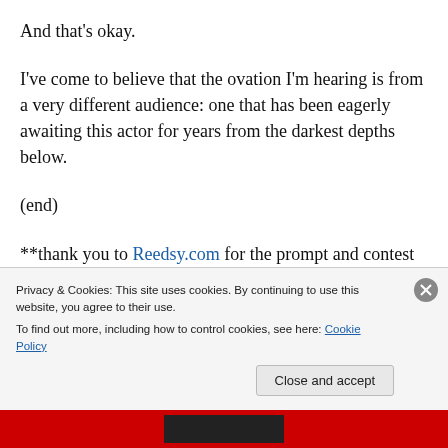And that's okay.
I've come to believe that the ovation I'm hearing is from a very different audience: one that has been eagerly awaiting this actor for years from the darkest depths below.
(end)
**thank you to Reedsy.com for the prompt and contest opportunity at https://blog.reedsy.com/creative-writing-
Privacy & Cookies: This site uses cookies. By continuing to use this website, you agree to their use.
To find out more, including how to control cookies, see here: Cookie Policy
Close and accept